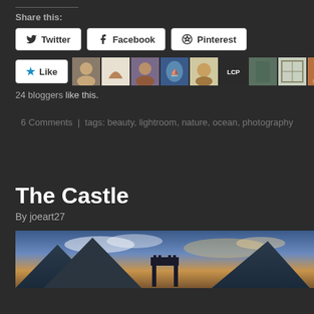Share this:
Twitter
Facebook
Pinterest
[Figure (other): Like button and blogger avatar thumbnails row, 24 bloggers like this]
24 bloggers like this.
6 Comments  |  tags: beauty, lightroom, nature, ocean, photography
The Castle
By joeart27
[Figure (photo): Partial photo of a castle with dramatic mountain and sky background, clouds and sunset lighting]